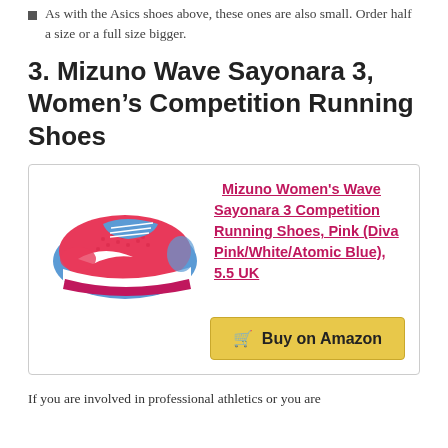As with the Asics shoes above, these ones are also small. Order half a size or a full size bigger.
3. Mizuno Wave Sayonara 3, Women's Competition Running Shoes
[Figure (photo): Pink and blue Mizuno Women's Wave Sayonara 3 Competition Running Shoes]
Mizuno Women's Wave Sayonara 3 Competition Running Shoes, Pink (Diva Pink/White/Atomic Blue), 5.5 UK
Buy on Amazon
If you are involved in professional athletics or you are